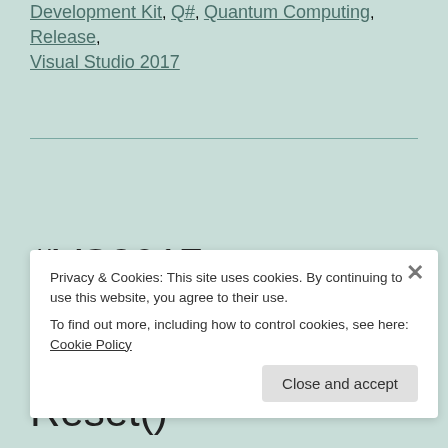Development Kit, Q#, Quantum Computing, Release, Visual Studio 2017
#VS2017 – Liberando #Qubits utilizando Reset()
Privacy & Cookies: This site uses cookies. By continuing to use this website, you agree to their use. To find out more, including how to control cookies, see here: Cookie Policy
Close and accept